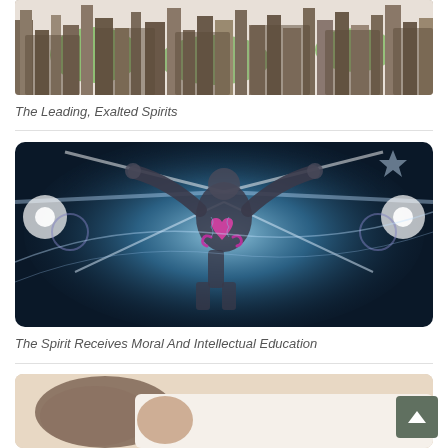[Figure (photo): Composite image of human silhouettes filled with cityscape imagery and green world map overlay, representing global leadership and elevated spiritual beings]
The Leading, Exalted Spirits
[Figure (photo): Spiritual figure with arms raised upward, surrounded by glowing blue energy and light patterns, with a pink/magenta heart symbol on the chest area, set against a dark background with light streaks]
The Spirit Receives Moral And Intellectual Education
[Figure (photo): Partially visible image at bottom of page showing a person lying down, appears to be sleeping or resting]